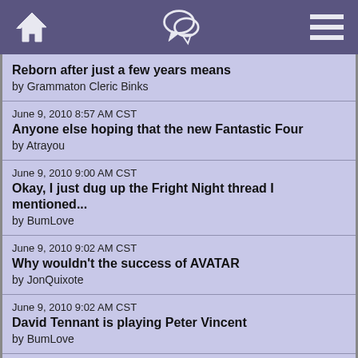Navigation bar with home, chat, and menu icons
Reborn after just a few years means
by Grammaton Cleric Binks
June 9, 2010 8:57 AM CST
Anyone else hoping that the new Fantastic Four
by Atrayou
June 9, 2010 9:00 AM CST
Okay, I just dug up the Fright Night thread I mentioned...
by BumLove
June 9, 2010 9:02 AM CST
Why wouldn't the success of AVATAR
by JonQuixote
June 9, 2010 9:02 AM CST
David Tennant is playing Peter Vincent
by BumLove
June 9, 2010 9:03 AM CST
Marvel Reboot without my money.
by shutupfanboy